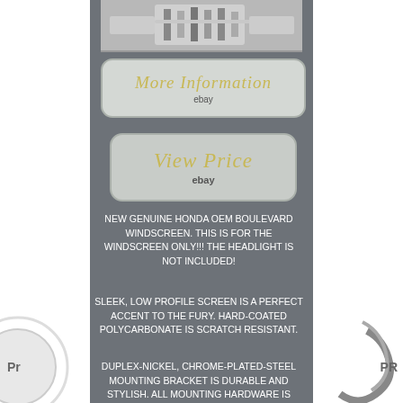[Figure (photo): Partial photo of chrome motorcycle hardware/handlebars at top of page]
[Figure (other): Button/badge with italic text 'More Information' and 'ebay' label below, light gray rounded rectangle]
[Figure (other): Button/badge with italic text 'View Price' and 'ebay' label below, gray rounded rectangle]
NEW GENUINE HONDA OEM BOULEVARD WINDSCREEN. THIS IS FOR THE WINDSCREEN ONLY!!! THE HEADLIGHT IS NOT INCLUDED!
SLEEK, LOW PROFILE SCREEN IS A PERFECT ACCENT TO THE FURY. HARD-COATED POLYCARBONATE IS SCRATCH RESISTANT.
DUPLEX-NICKEL, CHROME-PLATED-STEEL MOUNTING BRACKET IS DURABLE AND STYLISH. ALL MOUNTING HARDWARE IS